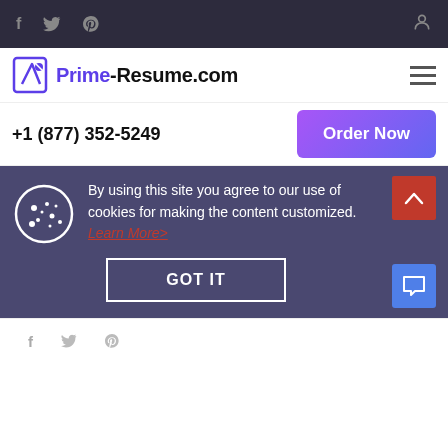f  Twitter  Pinterest  [user icon]
[Figure (logo): Prime-Resume.com logo with pencil/document icon in purple]
+1 (877) 352-5249
Order Now
By using this site you agree to our use of cookies for making the content customized. Learn More>
GOT IT
f  Twitter  Pinterest